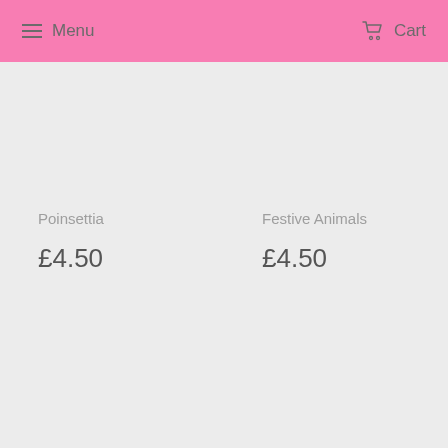Menu  Cart
Poinsettia
£4.50
Festive Animals
£4.50